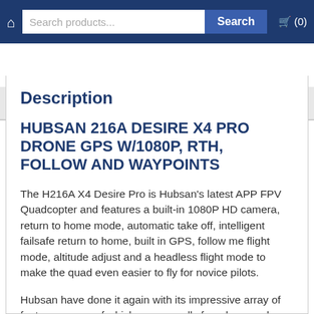🏠  Search products...  Search  🛒 (0)
Description   Reviews (0)
Description
HUBSAN 216A DESIRE X4 PRO DRONE GPS W/1080P, RTH, FOLLOW AND WAYPOINTS
The H216A X4 Desire Pro is Hubsan's latest APP FPV Quadcopter and features a built-in 1080P HD camera, return to home mode, automatic take off, intelligent failsafe return to home, built in GPS, follow me flight mode, altitude adjust and a headless flight mode to make the quad even easier to fly for novice pilots.
Hubsan have done it again with its impressive array of features, some of which are normally found on much more expensive models.